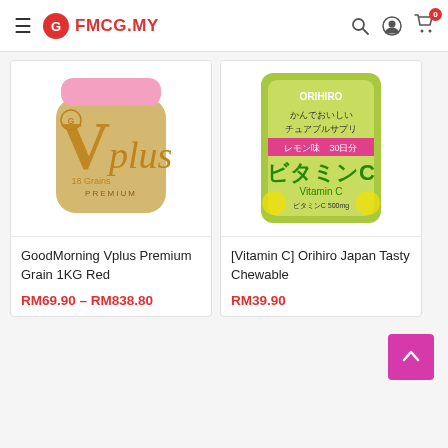FMCG.MY
[Figure (photo): GoodMorning Vplus Premium Grain 1KG Red - pink and gold jar product image]
GoodMorning Vplus Premium Grain 1KG Red
RM69.90 – RM838.80
[Figure (photo): [Vitamin C] Orihiro Japan Tasty Chewable - green package product image]
[Vitamin C] Orihiro Japan Tasty Chewable
RM39.90